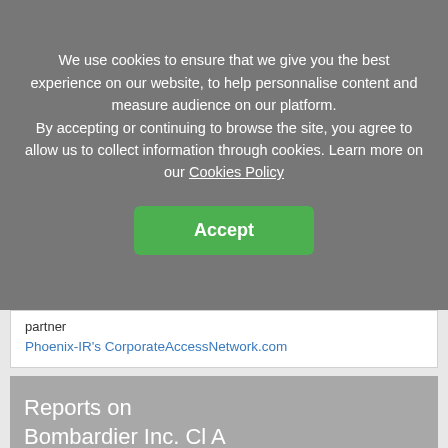We use cookies to ensure that we give you the best experience on our website, to help personnalise content and measure audience on our platform. By accepting or continuing to browse the site, you agree to allow us to collect information through cookies. Learn more on our Cookies Policy
Accept
partner
Phoenix-IR's CorporateAccessNetwork.com
Reports on Bombardier Inc. Cl A
PRESS RELEASE
BBD.A  BOMBARDIER INC